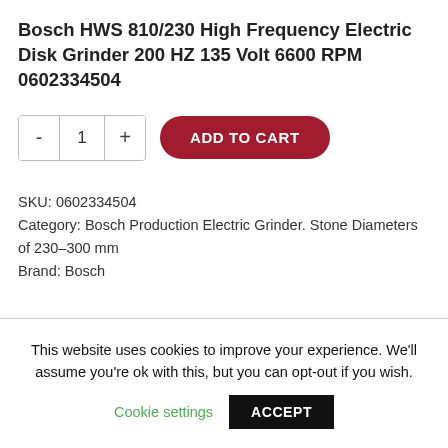Bosch HWS 810/230 High Frequency Electric Disk Grinder 200 HZ 135 Volt 6600 RPM 0602334504
- 1 + ADD TO CART
SKU: 0602334504
Category: Bosch Production Electric Grinder. Stone Diameters of 230–300 mm
Brand: Bosch
This website uses cookies to improve your experience. We'll assume you're ok with this, but you can opt-out if you wish.
Cookie settings  ACCEPT